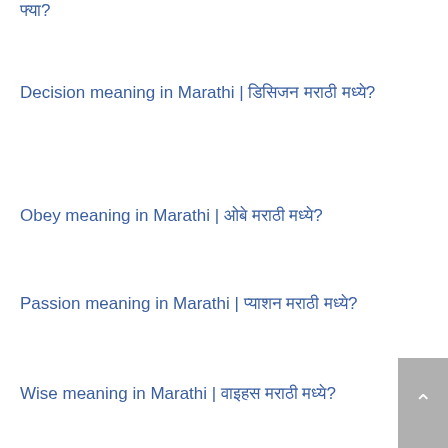□□□?
Decision meaning in Marathi | □□□□□□ □□□□□□ □□□?
Obey meaning in Marathi | □□□ □□□□□□ □□□?
Passion meaning in Marathi | □□□□ □□□□□□ □□□?
Wise meaning in Marathi | □□□□□ □□□□□□ □□□?
Doubt meaning in Marathi | □□□□ □□□□□□ □□□?